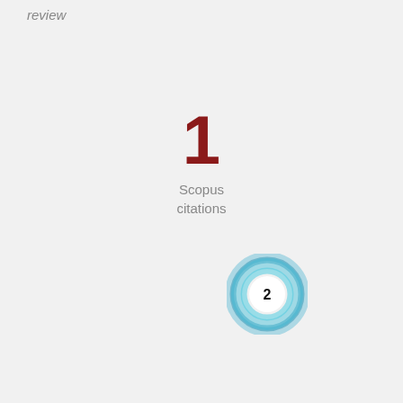review
1
Scopus
citations
[Figure (other): Blue circular donut/ring badge with number 2 in white center, representing an altmetric or citation score badge]
Overview   Fingerprint
Abstract
On the 50th anniversary of its publication, we look back on